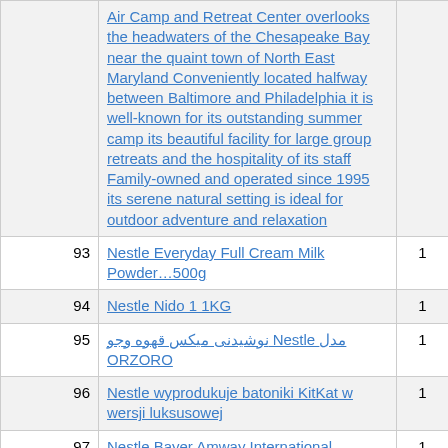| # | Title | Count |
| --- | --- | --- |
|  | Air Camp and Retreat Center overlooks the headwaters of the Chesapeake Bay near the quaint town of North East Maryland Conveniently located halfway between Baltimore and Philadelphia it is well-known for its outstanding summer camp its beautiful facility for large group retreats and the hospitality of its staff Family-owned and operated since 1995 its serene natural setting is ideal for outdoor adventure and relaxation |  |
| 93 | Nestle Everyday Full Cream Milk Powder…500g | 1 |
| 94 | Nestle Nido 1 1KG | 1 |
| 95 | Nestle نوشیدنی میکس قهوه وجو مدل ORZORO | 1 |
| 96 | Nestle wyprodukuje batoniki KitKat w wersji luksusowej | 1 |
| 97 | Nestle Bayer Amway International | 1 |